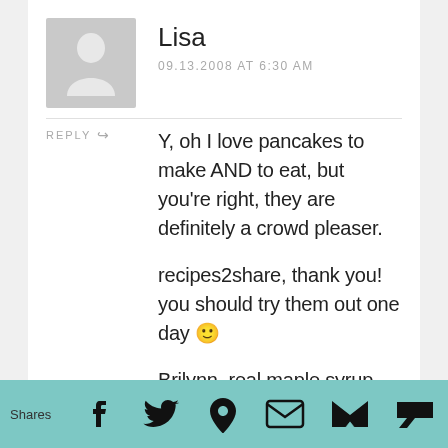Lisa
09.13.2008 AT 6:30 AM
REPLY
Y, oh I love pancakes to make AND to eat, but you're right, they are definitely a crowd pleaser.
recipes2share, thank you! you should try them out one day 🙂
Brilynn, real maple syrup makes all the difference. I'm addicted to the stuff! I hope you enjoy them when you do make them!
Pea & Pear, would you believe I went to a pancake restaurant
Shares